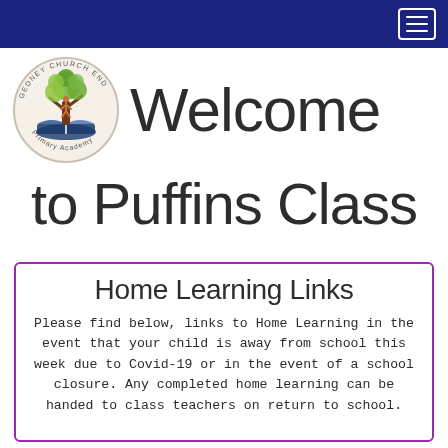Navigation bar with hamburger menu
[Figure (logo): Gedney Church End Primary Academy circular logo with tree and open book illustration]
Welcome to Puffins Class
Home Learning Links
Please find below, links to Home Learning in the event that your child is away from school this week due to Covid-19 or in the event of a school closure. Any completed home learning can be handed to class teachers on return to school.